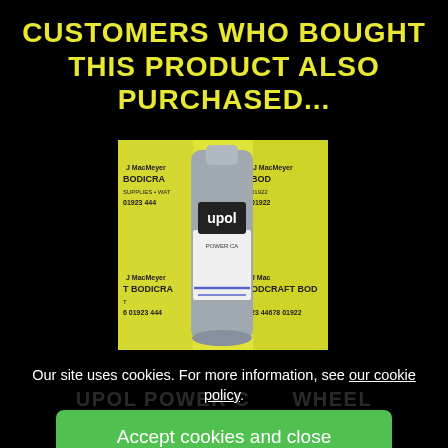CUSTOMERS WHO BOUGHT THIS PRODUCT ALSO PURCHASED...
[Figure (photo): A silver upol spray can in front of yellow Bodicraft branded boxes showing contact details including 01923 444...]
Our site uses cookies. For more information, see our cookie policy.
Accept cookies and close
Reject cookies
Manage settings